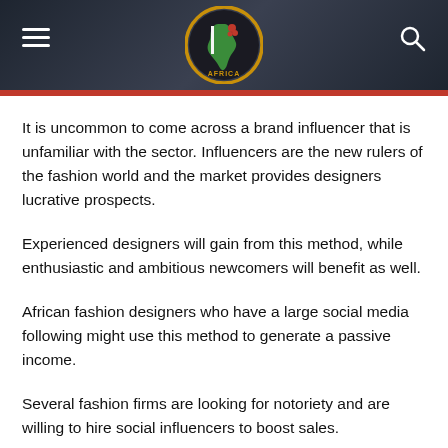I AFRICA (logo with hamburger menu and search icon)
It is uncommon to come across a brand influencer that is unfamiliar with the sector. Influencers are the new rulers of the fashion world and the market provides designers lucrative prospects.
Experienced designers will gain from this method, while enthusiastic and ambitious newcomers will benefit as well.
African fashion designers who have a large social media following might use this method to generate a passive income.
Several fashion firms are looking for notoriety and are willing to hire social influencers to boost sales.